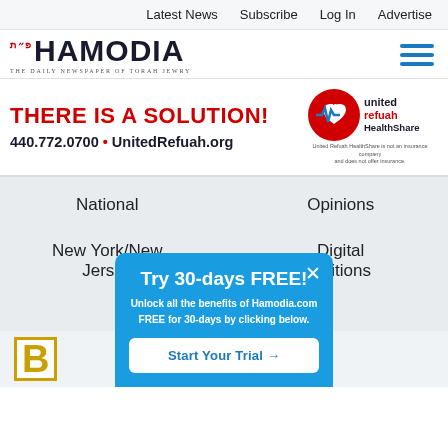Latest News   Subscribe   Log In   Advertise
[Figure (logo): Hamodia newspaper logo with Hebrew text and tagline 'The Daily Newspaper of Torah Jewry', hamburger menu icon on right]
[Figure (infographic): United Refuah HealthShare advertisement. Red bold text: THERE IS A SOLUTION! Phone: 440.772.0700 and UnitedRefuah.org. United Refuah HealthShare logo on right. Disclaimer: United Refuah HealthShare is not an insurance company and does not offer insurance.]
National
Opinions
New York/New Jersey
Digital Editions
B
Try 30-days FREE!
Unlock all the benefits of Hamodia.com FREE for 30-days by clicking below.
Start Your Trial →